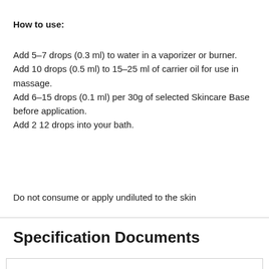How to use:
Add 5–7 drops (0.3 ml) to water in a vaporizer or burner.
Add 10 drops (0.5 ml) to 15–25 ml of carrier oil for use in massage.
Add 6–15 drops (0.1 ml) per 30g of selected Skincare Base before application.
Add 2 12 drops into your bath.
Do not consume or apply undiluted to the skin
Specification Documents